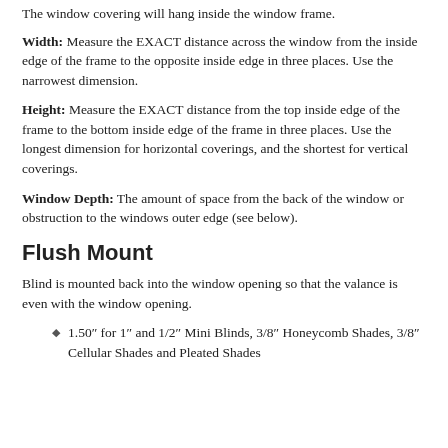The window covering will hang inside the window frame.
Width: Measure the EXACT distance across the window from the inside edge of the frame to the opposite inside edge in three places. Use the narrowest dimension.
Height: Measure the EXACT distance from the top inside edge of the frame to the bottom inside edge of the frame in three places. Use the longest dimension for horizontal coverings, and the shortest for vertical coverings.
Window Depth: The amount of space from the back of the window or obstruction to the windows outer edge (see below).
Flush Mount
Blind is mounted back into the window opening so that the valance is even with the window opening.
1.50″ for 1″ and 1/2″ Mini Blinds, 3/8″ Honeycomb Shades, 3/8″ Cellular Shades and Pleated Shades